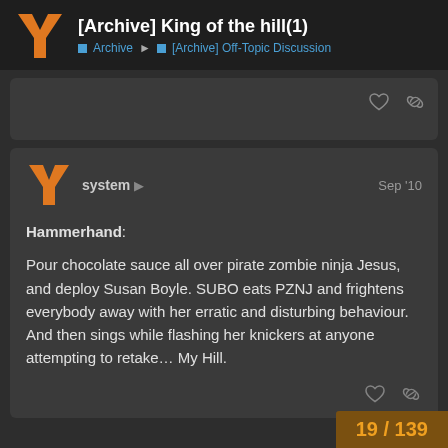[Archive] King of the hill(1) — Archive > [Archive] Off-Topic Discussion
system — Sep '10

Hammerhand:

Pour chocolate sauce all over pirate zombie ninja Jesus, and deploy Susan Boyle. SUBO eats PZNJ and frightens everybody away with her erratic and disturbing behaviour. And then sings while flashing her knickers at anyone attempting to retake… My Hill.
19 / 139